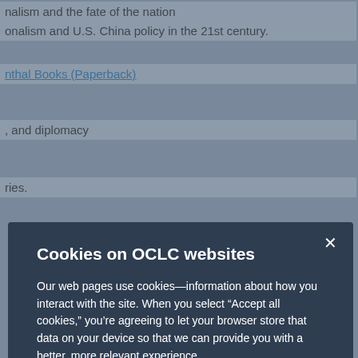nalism and the fate of the nation
onalism and U.S. China policy in the 21st century.
nthal Books (Paperback)
, and diplomacy
ries.
Cookies on OCLC websites
Our web pages use cookies—information about how you interact with the site. When you select “Accept all cookies,” you’re agreeing to let your browser store that data on your device so that we can provide you with a better, more relevant experience.
Selecting “Reject unnecessary cookies” limits the data that’s stored to what’s strictly necessary for using the site. However, that may negatively impact your experience. You can also customize your cookie settings.
See our Cookie Notice for more information
Accept all cookies
Reject unnecessary